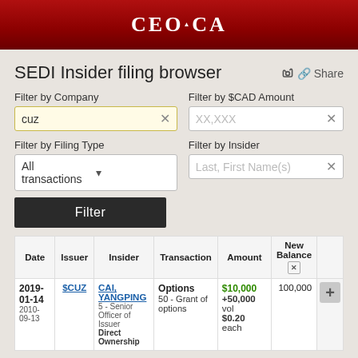CEO.CA
SEDI Insider filing browser
Share
Filter by Company: cuz
Filter by $CAD Amount: XX,XXX
Filter by Filing Type: All transactions
Filter by Insider: Last, First Name(s)
Filter
| Date | Issuer | Insider | Transaction | Amount | New Balance |  |
| --- | --- | --- | --- | --- | --- | --- |
| 2019-01-14
2010-09-13 | $CUZ | CAI, YANGPING
5 - Senior Officer of Issuer
Direct Ownership | Options
50 - Grant of options | $10,000
+50,000 vol
$0.20 each | 100,000 | + |